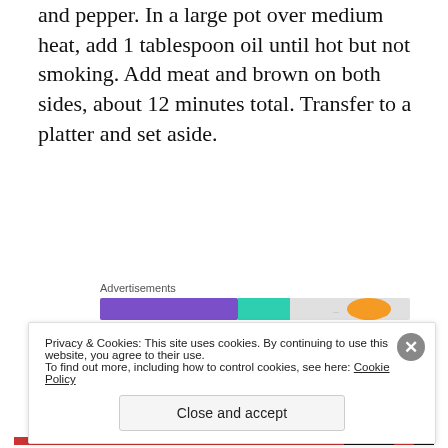and pepper. In a large pot over medium heat, add 1 tablespoon oil until hot but not smoking. Add meat and brown on both sides, about 12 minutes total. Transfer to a platter and set aside.
[Figure (infographic): Advertisements banner with colored segments: purple, teal, light gray, and orange shapes resembling a progress/ad bar.]
2. To the same pot, add remaining 1 tablespoon oil and the onions, carrots, celery and garlic. Sauté over moderately high heat until softened and golden, about 5
Privacy & Cookies: This site uses cookies. By continuing to use this website, you agree to their use.
To find out more, including how to control cookies, see here: Cookie Policy
Close and accept